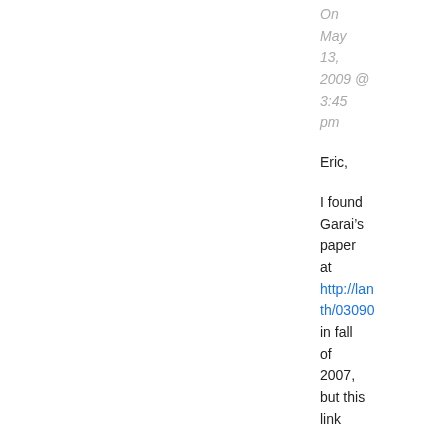On May 13, 2009 @ 3:45 pm
Eric,
I found Garai’s paper at http://lan th/03090 in fall of 2007, but this link